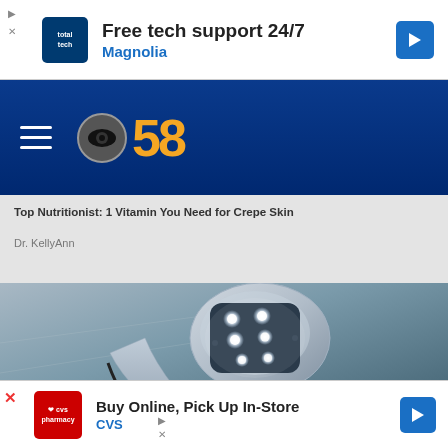[Figure (screenshot): Top advertisement banner: Free tech support 24/7 - Magnolia, with blue Totaltech icon and blue arrow button]
[Figure (logo): CBS 58 logo with hamburger menu icon on dark blue navigation bar background]
Top Nutritionist: 1 Vitamin You Need for Crepe Skin
Dr. KellyAnn
[Figure (photo): Close-up photo of a handheld LED light therapy device with multiple glowing white LED bulbs, shown against a blue-gray background]
[Figure (screenshot): Bottom advertisement banner: Buy Online, Pick Up In-Store - CVS, with red CVS pharmacy icon and blue arrow button]